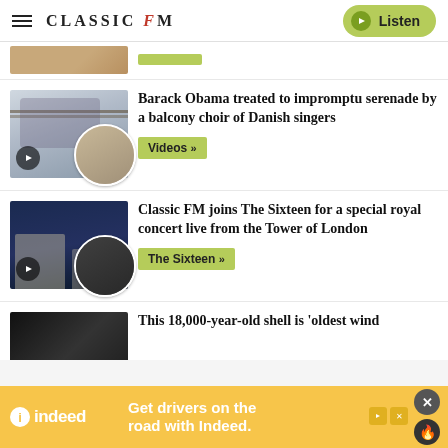CLASSIC FM — Listen
[Figure (photo): Partial thumbnail of first article, cropped at top]
Barack Obama treated to impromptu serenade by a balcony choir of Danish singers
Videos »
[Figure (photo): Thumbnail showing Tower of London at night with choir group in circular inset]
Classic FM joins The Sixteen for a special royal concert live from the Tower of London
The Sixteen »
[Figure (photo): Partial thumbnail of third article, dark background with shell object]
This 18,000-year-old shell is 'oldest wind
Get drivers on the road with Indeed.